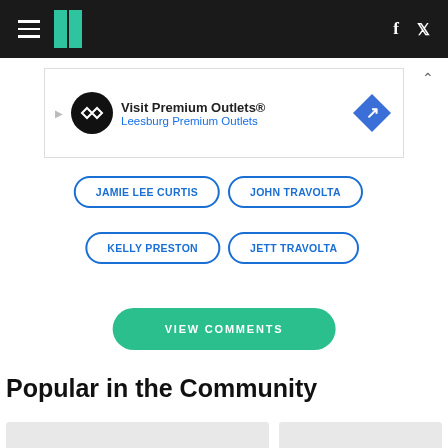Huffington Post navigation bar with hamburger menu, logo, Facebook and Twitter icons
[Figure (screenshot): Advertisement banner: Visit Premium Outlets® / Leesburg Premium Outlets]
JAMIE LEE CURTIS
JOHN TRAVOLTA
KELLY PRESTON
JETT TRAVOLTA
VIEW COMMENTS
Popular in the Community
[Figure (photo): Two partially visible article card images at the bottom of the page]